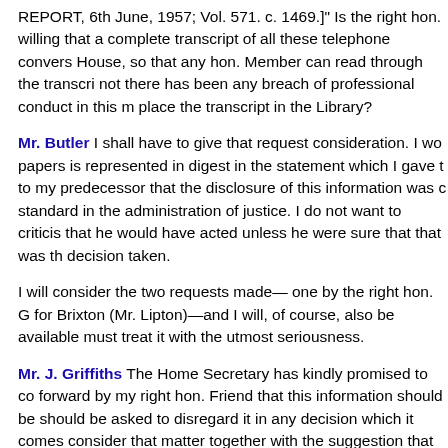REPORT, 6th June, 1957; Vol. 571. c. 1469.]" Is the right hon. willing that a complete transcript of all these telephone convers House, so that any hon. Member can read through the transcri not there has been any breach of professional conduct in this m place the transcript in the Library?
Mr. Butler I shall have to give that request consideration. I wo papers is represented in digest in the statement which I gave t to my predecessor that the disclosure of this information was c standard in the administration of justice. I do not want to criticis that he would have acted unless he were sure that that was th decision taken.
I will consider the two requests made— one by the right hon. G for Brixton (Mr. Lipton)—and I will, of course, also be available must treat it with the utmost seriousness.
Mr. J. Griffiths The Home Secretary has kindly promised to co forward by my right hon. Friend that this information should be should be asked to disregard it in any decision which it comes consider that matter together with the suggestion that the Bar